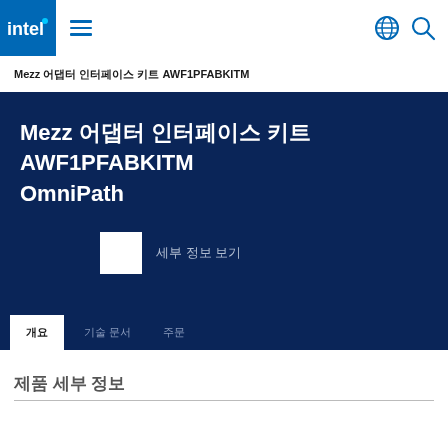Intel navigation bar with logo, hamburger menu, globe and search icons
Mezz 어댑터 인터페이스 키트 AWF1PFABKITM
Mezz 어댑터 인터페이스 키트 AWF1PFABKITM OmniPath
[Figure (screenshot): Product thumbnail placeholder with label 세부 정보 보기]
제품 세부 정보